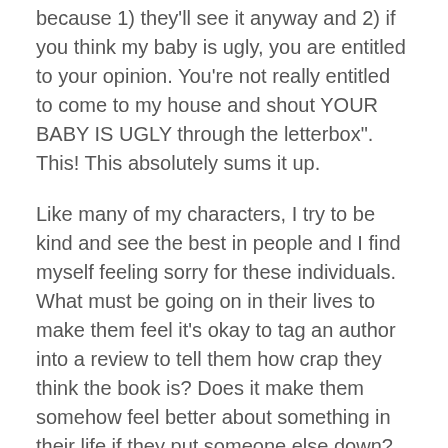because 1) they'll see it anyway and 2) if you think my baby is ugly, you are entitled to your opinion. You're not really entitled to come to my house and shout YOUR BABY IS UGLY through the letterbox". This! This absolutely sums it up.
Like many of my characters, I try to be kind and see the best in people and I find myself feeling sorry for these individuals. What must be going on in their lives to make them feel it's okay to tag an author into a review to tell them how crap they think the book is? Does it make them somehow feel better about something in their life if they put someone else down? I've been tagged in and hashtagged into negative reviews and it floored me because it comes out of the blue. When I participate in a blog tour or I look at my reviews, I'm always prepared that there may be something negative. When someone tags